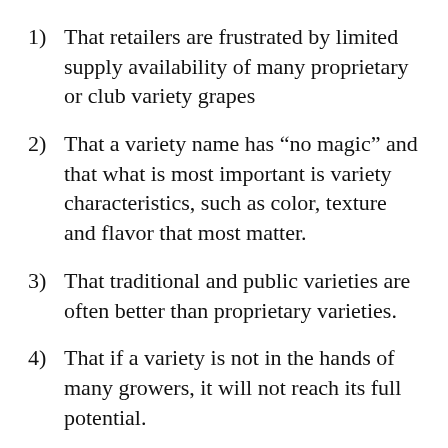1)   That retailers are frustrated by limited supply availability of many proprietary or club variety grapes
2)   That a variety name has “no magic” and that what is most important is variety characteristics, such as color, texture and flavor that most matter.
3)   That traditional and public varieties are often better than proprietary varieties.
4)   That if a variety is not in the hands of many growers, it will not reach its full potential.
John is always insightful and we think he is, in fact, identifying how many retailers and growers of non-proprietary varieties feel, but he is not painting the picture of how the industry will